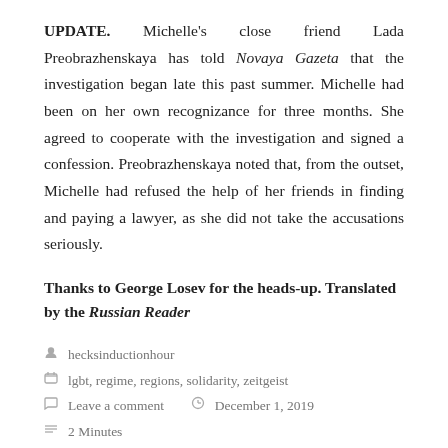UPDATE. Michelle's close friend Lada Preobrazhenskaya has told Novaya Gazeta that the investigation began late this past summer. Michelle had been on her own recognizance for three months. She agreed to cooperate with the investigation and signed a confession. Preobrazhenskaya noted that, from the outset, Michelle had refused the help of her friends in finding and paying a lawyer, as she did not take the accusations seriously.
Thanks to George Losev for the heads-up. Translated by the Russian Reader
hecksinductionhour
lgbt, regime, regions, solidarity, zeitgeist
Leave a comment    December 1, 2019
2 Minutes